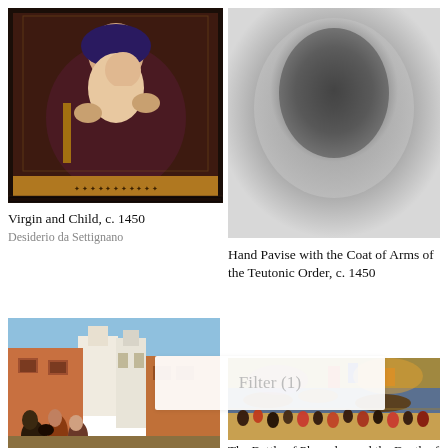[Figure (photo): Painting of Virgin and Child, c. 1450, showing Madonna holding infant Jesus, dark ornate frame with gold inscription panel at bottom]
Virgin and Child, c. 1450
Desiderio da Settignano
[Figure (photo): Blurred/obscured image of Hand Pavise with the Coat of Arms of the Teutonic Order, c. 1450, shown as gray blurred rectangle]
Hand Pavise with the Coat of Arms of the Teutonic Order, c. 1450
[Figure (photo): Painting showing medieval street scene with figures in foreground including clergy and townspeople, colorful buildings in background]
[Figure (photo): Painting depicting The Battle of Pharsalus and the Death of Pompey, 1455/60, crowded battle scene with many figures]
The Battle of Pharsalus and the Death of Pompey, 1455/60
Apollonius di Giovanni
Filter (1)